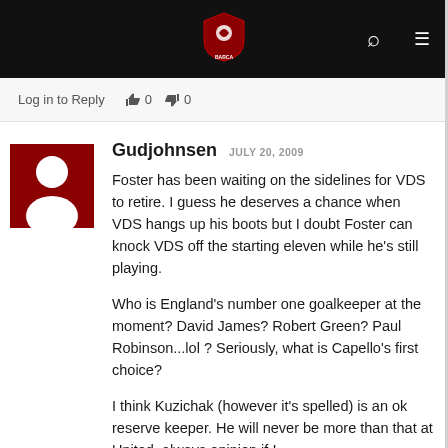Log in to Reply   0   0
[Figure (logo): Dark navigation bar with a red shield logo in the center and search/menu icons on the right]
Gudjohnsen  JULY 20, 2009
Foster has been waiting on the sidelines for VDS to retire. I guess he deserves a chance when VDS hangs up his boots but I doubt Foster can knock VDS off the starting eleven while he's still playing.
Who is England's number one goalkeeper at the moment? David James? Robert Green? Paul Robinson...lol ? Seriously, what is Capello's first choice?
I think Kuzichak (however it's spelled) is an ok reserve keeper. He will never be more than that at United, always opinion if I...